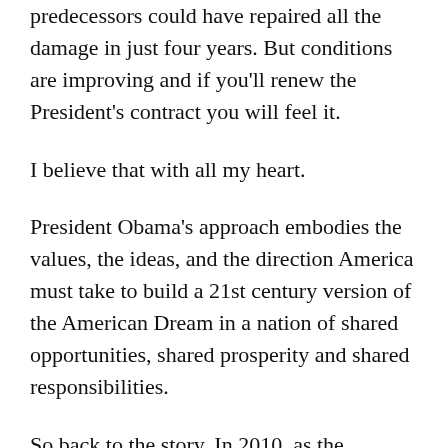predecessors could have repaired all the damage in just four years. But conditions are improving and if you'll renew the President's contract you will feel it.
I believe that with all my heart.
President Obama's approach embodies the values, the ideas, and the direction America must take to build a 21st century version of the American Dream in a nation of shared opportunities, shared prosperity and shared responsibilities.
So back to the story. In 2010, as the President's recovery program kicked in, the job losses stopped and things began to turn around.
The Recovery Act saved and created millions of jobs and cut taxes for 95% of the American people. In the last 29 months the economy has produced about 4.5 million